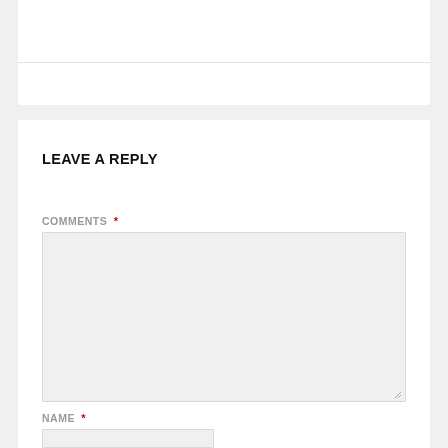LEAVE A REPLY
COMMENTS *
[Figure (screenshot): Empty comment textarea input field with light gray background]
NAME *
[Figure (screenshot): Empty name text input field with light gray background]